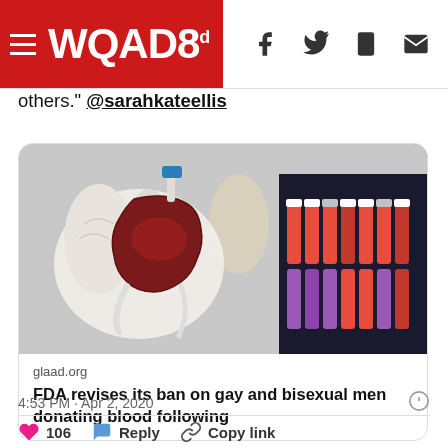WQAD8
others." @sarahkateellis
[Figure (screenshot): Photo of a gloved hand holding a blood bag with blood collection tubes in the background, from glaad.org. Card shows link preview with title: FDA revises its ban on gay and bisexual men donating blood following]
4:53 PM · Apr 2, 2020
106  Reply  Copy link